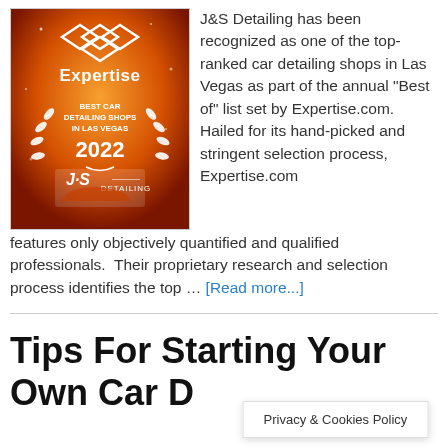[Figure (other): Expertise.com award badge: Best Car Detailing Shops in Las Vegas 2022, with J&S Detailing logo on orange/red background with decorative laurel wreath and diamond logo]
J&S Detailing has been recognized as one of the top-ranked car detailing shops in Las Vegas as part of the annual "Best of" list set by Expertise.com. Hailed for its hand-picked and stringent selection process, Expertise.com features only objectively quantified and qualified professionals.  Their proprietary research and selection process identifies the top … [Read more...]
Tips For Starting Your Own Car R